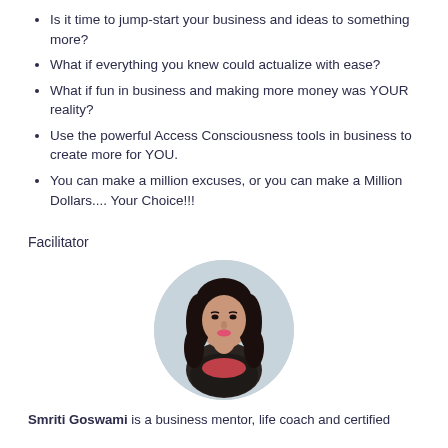Is it time to jump-start your business and ideas to something more?
What if everything you knew could actualize with ease?
What if fun in business and making more money was YOUR reality?
Use the powerful Access Consciousness tools in business to create more for YOU.
You can make a million excuses, or you can make a Million Dollars.... Your Choice!!!
Facilitator
[Figure (photo): Circular portrait photo of Smriti Goswami, a woman with long dark hair wearing a dark jacket and pink scarf, against a light grey background.]
Smriti Goswami is a business mentor, life coach and certified